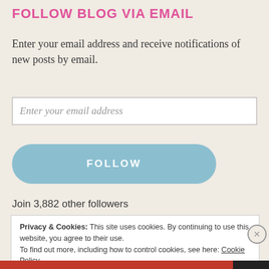FOLLOW BLOG VIA EMAIL
Enter your email address and receive notifications of new posts by email.
Enter your email address
FOLLOW
Join 3,882 other followers
Privacy & Cookies: This site uses cookies. By continuing to use this website, you agree to their use.
To find out more, including how to control cookies, see here: Cookie Policy
Close and accept